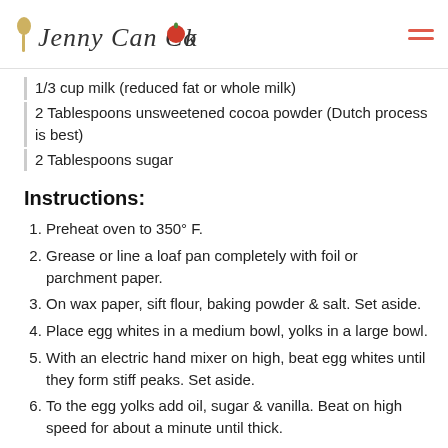Jenny Can Cook
1/3 cup milk (reduced fat or whole milk)
2 Tablespoons unsweetened cocoa powder (Dutch process is best)
2 Tablespoons sugar
Instructions:
Preheat oven to 350° F.
Grease or line a loaf pan completely with foil or parchment paper.
On wax paper, sift flour, baking powder & salt. Set aside.
Place egg whites in a medium bowl, yolks in a large bowl.
With an electric hand mixer on high, beat egg whites until they form stiff peaks. Set aside.
To the egg yolks add oil, sugar & vanilla. Beat on high speed for about a minute until thick.
With beater on low speed, slowly add milk, then